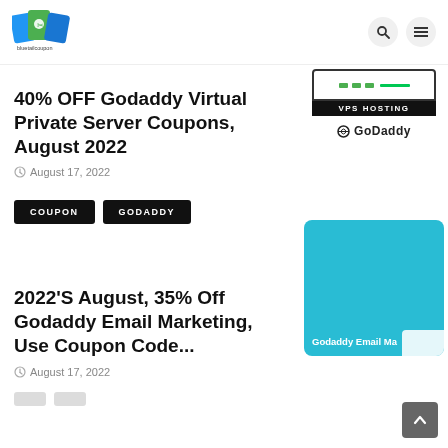[Figure (logo): Bluetailcoupon logo - colorful coupon icon with text 'bluetailcoupon' below]
[Figure (infographic): VPS Hosting GoDaddy advertisement banner with screen icon and GoDaddy logo]
40% OFF Godaddy Virtual Private Server Coupons, August 2022
August 17, 2022
COUPON
GODADDY
[Figure (illustration): GoDaddy Email Marketing teal/blue image thumbnail with text 'Godaddy Email Ma...']
2022'S August, 35% Off Godaddy Email Marketing, Use Coupon Code...
August 17, 2022